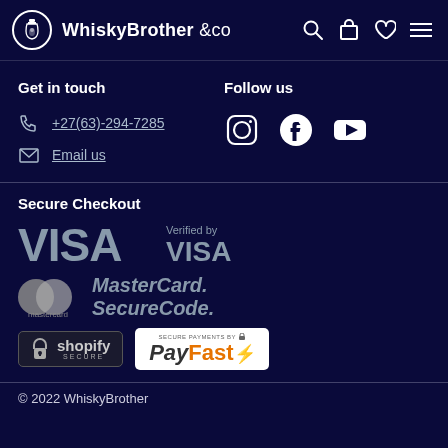WhiskyBrother &co
Get in touch
+27(63)-294-7285
Email us
Follow us
[Figure (logo): Social media icons: Instagram, Facebook, YouTube]
Secure Checkout
[Figure (logo): Payment logos: VISA, Verified by VISA, MasterCard SecureCode, Shopify Secure, PayFast]
© 2022 WhiskyBrother